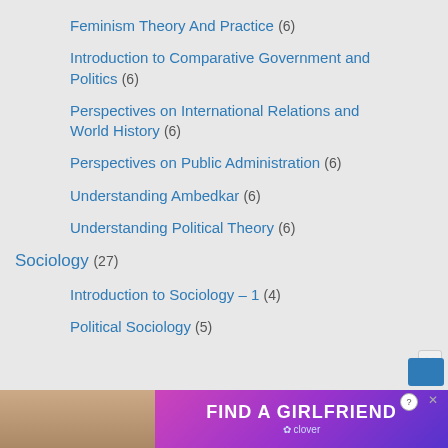Feminism Theory And Practice (6)
Introduction to Comparative Government and Politics (6)
Perspectives on International Relations and World History (6)
Perspectives on Public Administration (6)
Understanding Ambedkar (6)
Understanding Political Theory (6)
Sociology (27)
Introduction to Sociology – 1 (4)
Political Sociology (5)
[Figure (photo): Advertisement banner at the bottom: 'FIND A GIRLFRIEND' with Clover app branding on a purple gradient background, with a photo of a woman on the left side.]